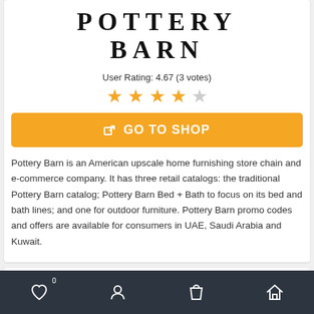[Figure (logo): Pottery Barn logo in bold serif uppercase text]
User Rating: 4.67 (3 votes)
[Figure (other): 4.5 out of 5 stars rating display with 4 filled orange stars and 1 grey star]
GO TO SHOP
Pottery Barn is an American upscale home furnishing store chain and e-commerce company. It has three retail catalogs: the traditional Pottery Barn catalog; Pottery Barn Bed + Bath to focus on its bed and bath lines; and one for outdoor furniture. Pottery Barn promo codes and offers are available for consumers in UAE, Saudi Arabia and Kuwait.
Categories